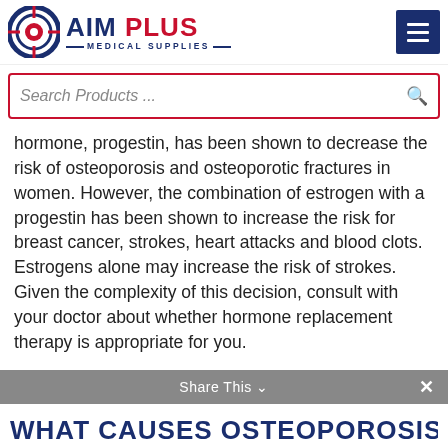[Figure (logo): AIM PLUS Medical Supplies logo with circular target icon]
Search Products ...
hormone, progestin, has been shown to decrease the risk of osteoporosis and osteoporotic fractures in women. However, the combination of estrogen with a progestin has been shown to increase the risk for breast cancer, strokes, heart attacks and blood clots. Estrogens alone may increase the risk of strokes. Given the complexity of this decision, consult with your doctor about whether hormone replacement therapy is appropriate for you.
Share This
WHAT CAUSES OSTEOPOROSIS?